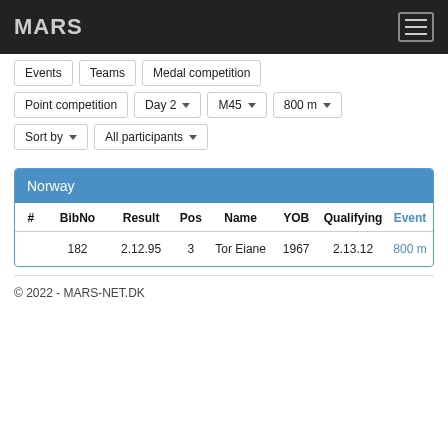MARS
Events   Teams   Medal competition
Point competition   Day 2 ▾   M45 ▾   800 m ▾
Sort by ▾   All participants ▾
Norway
| # | BibNo | Result | Pos | Name | YOB | Qualifying | Event |
| --- | --- | --- | --- | --- | --- | --- | --- |
|  | 182 | 2.12.95 | 3 | Tor Eiane | 1967 | 2.13.12 | 800 m |
© 2022 - MARS-NET.DK